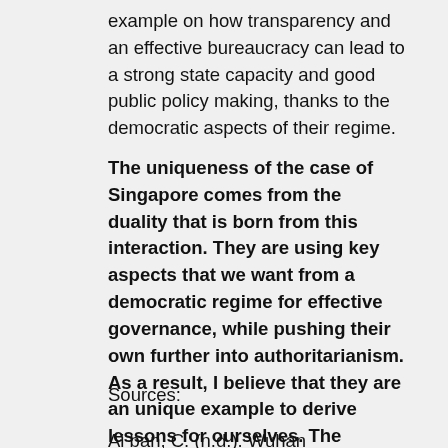example on how transparency and an effective bureaucracy can lead to a strong state capacity and good public policy making, thanks to the democratic aspects of their regime.
The uniqueness of the case of Singapore comes from the duality that is born from this interaction. They are using key aspects that we want from a democratic regime for effective governance, while pushing their own further into authoritarianism. As a result, I believe that they are an unique example to derive lessons for ourselves. The Singapore model shows how to achieve good governance, which can be implemented to democracies of our own.
Sources:
Ai ban, C. (n.d.). Wuhan pneumonia: First suspected cases reported...